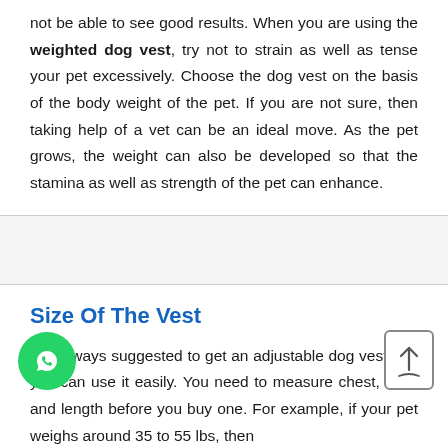not be able to see good results. When you are using the weighted dog vest, try not to strain as well as tense your pet excessively. Choose the dog vest on the basis of the body weight of the pet. If you are not sure, then taking help of a vet can be an ideal move. As the pet grows, the weight can also be developed so that the stamina as well as strength of the pet can enhance.
Size Of The Vest
It is always suggested to get an adjustable dog vest that you can use it easily. You need to measure chest, neck and length before you buy one. For example, if your pet weighs around 35 to 55 lbs, then